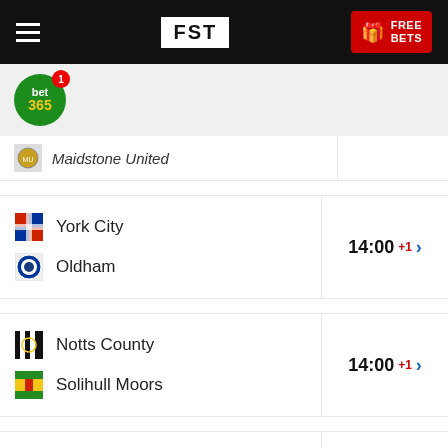FST — FREE BETS
[Figure (logo): bet365 circular green logo with notification badge]
Maidstone United — 14:00 +1
York City vs Oldham — 14:00 +1
Notts County vs Solihull Moors — 14:00 +1
Altrincham vs Chesterfield — 14:00 +1